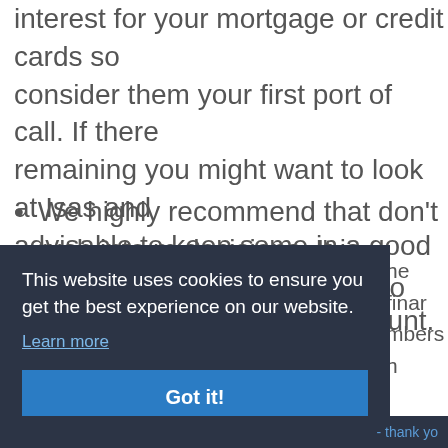interest for your mortgage or credit cards so consider them your first port of call. If there remaining you might want to look at Isas and advisable to keep some in a good high-rate in telephone-based deposit account.
We highly recommend that don't rush into m decisions. It is important to review your optio professional advice where necessary.
This website uses cookies to ensure you get the best experience on our website.
Learn more
Got it!
the finan mbers h
- thank yo